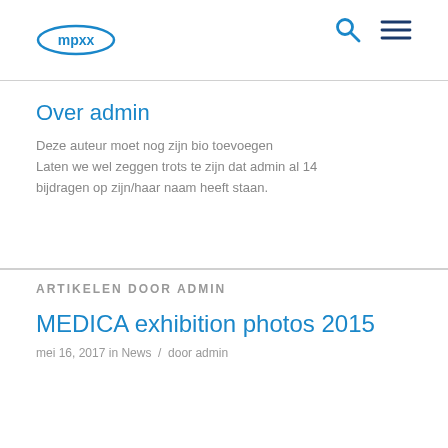mpxx
Over admin
Deze auteur moet nog zijn bio toevoegen Laten we wel zeggen trots te zijn dat admin al 14 bijdragen op zijn/haar naam heeft staan.
ARTIKELEN DOOR ADMIN
MEDICA exhibition photos 2015
mei 16, 2017 in News / door admin